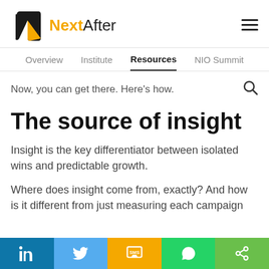[Figure (logo): NextAfter logo with stylized N icon in black and gold, and text 'NextAfter' with 'Next' in gold bold and 'After' in black]
Overview   Institute   Resources   NIO Summit
Now, you can get there. Here's how.
The source of insight
Insight is the key differentiator between isolated wins and predictable growth.
Where does insight come from, exactly? And how is it different from just measuring each campaign